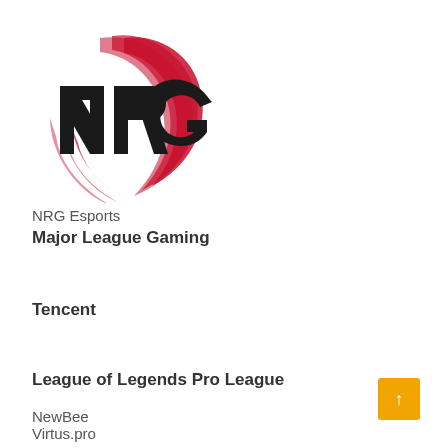[Figure (logo): NRG Esports logo — bold black letters NRG with red swoosh/flame graphic behind]
NRG Esports
Major League Gaming
Tencent
League of Legends Pro League
NewBee
Virtus.pro